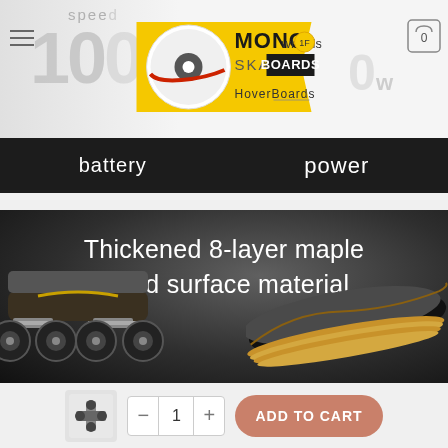[Figure (screenshot): E-commerce website header for MONO Wheels Skateboards / HoverBoards with speed '100' and power '0w' displayed, hamburger menu, cart icon with 0 items, and logo banner.]
battery    power
[Figure (photo): Dark background product image showing a skateboard undercarriage (wheels and trucks) on the left and a maple wood skateboard deck on the right, with white text reading 'Thickened 8-layer maple wood surface material']
Thickened 8-layer maple wood surface material
[Figure (screenshot): Bottom add-to-cart bar with skateboard thumbnail icon, quantity selector showing 1, minus and plus buttons, and an ADD TO CART button in salmon/terracotta color.]